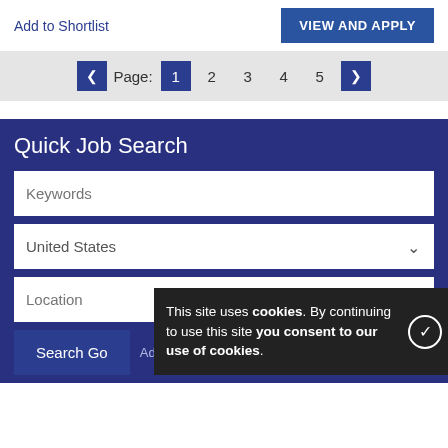Add to Shortlist
VIEW AND APPLY
Page: 1 2 3 4 5
Quick Job Search
Keywords
United States
Location
Search Go
Advanced Job Search »
This site uses cookies. By continuing to use this site you consent to our use of cookies.